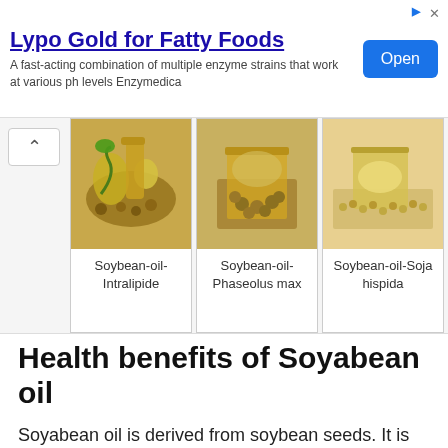[Figure (other): Advertisement banner for Lypo Gold for Fatty Foods by Enzymedica with an Open button]
Lypo Gold for Fatty Foods
A fast-acting combination of multiple enzyme strains that work at various ph levels Enzymedica
[Figure (other): Gallery of three soybean oil images with captions: Soybean-oil-Intralipide, Soybean-oil-Phaseolus max, Soybean-oil-Soja hispida]
Soybean-oil-Intralipide
Soybean-oil-Phaseolus max
Soybean-oil-Soja hispida
Health benefits of Soyabean oil
Soyabean oil is derived from soybean seeds. It is scientifically known as Glycine max. It has